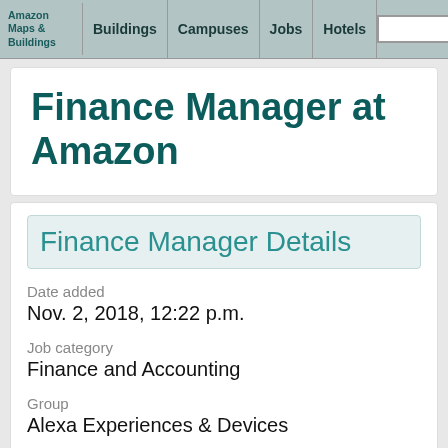Amazon Maps & Buildings | Buildings | Campuses | Jobs | Hotels | Search | Contact
Finance Manager at Amazon
Finance Manager Details
Date added
Nov. 2, 2018, 12:22 p.m.
Job category
Finance and Accounting
Group
Alexa Experiences & Devices
Location
Seattle, Washington
Highlights
Echo Finance team Finance Manager to